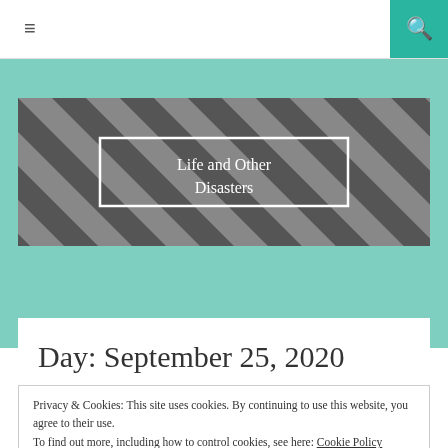≡  [search icon]
[Figure (logo): Blog banner with diagonal grey and dark grey stripes pattern, containing white-bordered box with cursive text 'Life and Other Disasters']
Day: September 25, 2020
Privacy & Cookies: This site uses cookies. By continuing to use this website, you agree to their use.
To find out more, including how to control cookies, see here: Cookie Policy
Close and accept